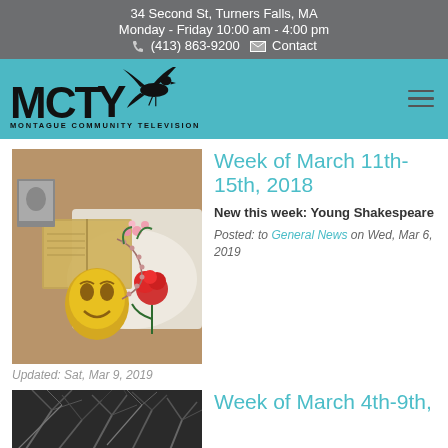34 Second St, Turners Falls, MA
Monday - Friday 10:00 am - 4:00 pm
☎ (413) 863-9200  ✉ Contact
[Figure (logo): MCTY Montague Community Television logo with eagle graphic on teal background]
Week of March 11th-15th, 2018
New this week: Young Shakespeare
Posted: to General News on Wed, Mar 6, 2019
[Figure (photo): Photo of gold theater mask, open book, red rose, and photographs on white fabric backdrop]
Updated: Sat, Mar 9, 2019
Week of March 4th-9th,
[Figure (photo): Black and white photo of bare tree branches]